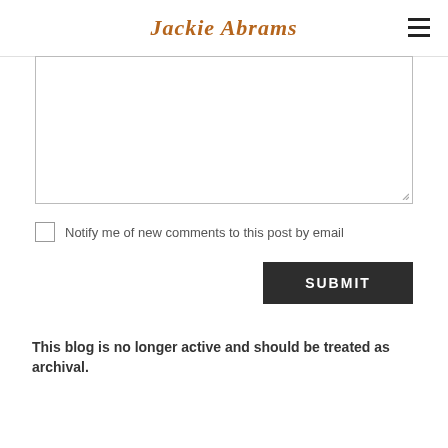Jackie Abrams
[Figure (screenshot): Empty textarea comment input box with resize handle]
Notify me of new comments to this post by email
SUBMIT
This blog is no longer active and should be treated as archival.